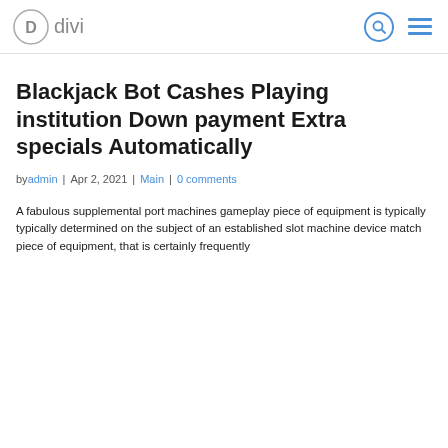Divi
Blackjack Bot Cashes Playing institution Down payment Extra specials Automatically
by admin | Apr 2, 2021 | Main | 0 comments
A fabulous supplemental port machines gameplay piece of equipment is typically typically determined on the subject of an established slot machine device match piece of equipment, that is certainly frequently